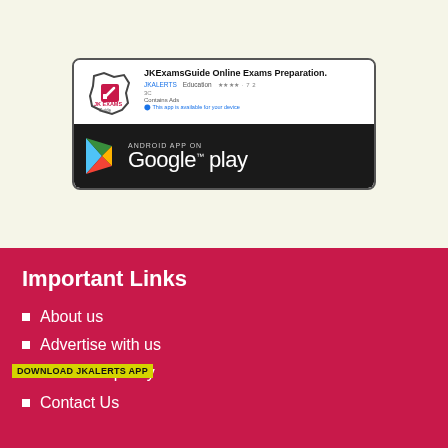[Figure (screenshot): JK Exams Guide app listing on Google Play Store showing logo, app title 'JKExamsGuide Online Exams Preparation.', JKALERTS Education label, star rating, Contains Ads notice, and Google Play download badge on dark background]
Important Links
About us
Advertise with us
Comment policy
Contact Us